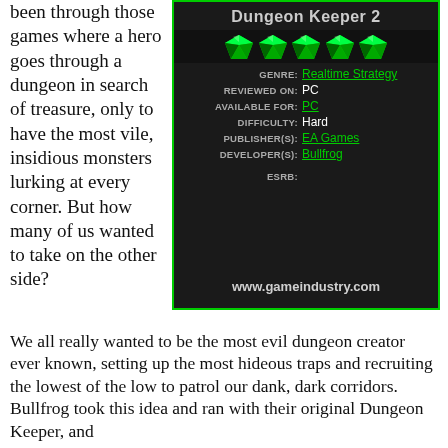been through those games where a hero goes through a dungeon in search of treasure, only to have the most vile, insidious monsters lurking at every corner. But how many of us wanted to take on the other side?
[Figure (infographic): Game review info box for Dungeon Keeper 2 with 5 green gem rating, genre: Realtime Strategy, reviewed on: PC, available for: PC, difficulty: Hard, publisher(s): EA Games, developer(s): Bullfrog, ESRB: (blank), website: www.gameindustry.com]
We all really wanted to be the most evil dungeon creator ever known, setting up the most hideous traps and recruiting the lowest of the low to patrol our dank, dark corridors. Bullfrog took this idea and ran with their original Dungeon Keeper, and